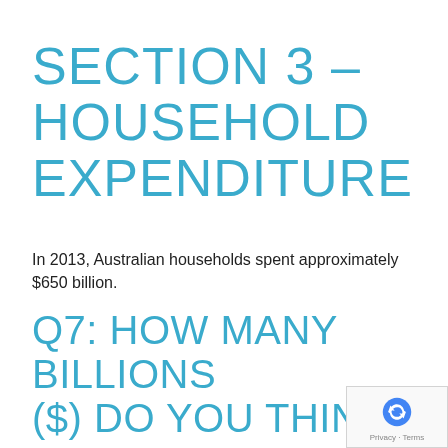SECTION 3 – HOUSEHOLD EXPENDITURE
In 2013, Australian households spent approximately $650 billion.
Q7: HOW MANY BILLIONS ($) DO YOU THINK AUSTRALIAN HOUSEHOLDS